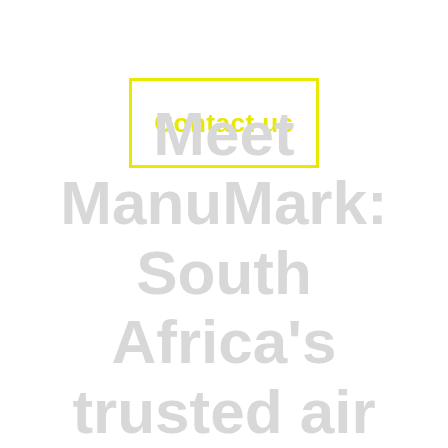[Figure (other): Yellow outlined rectangle button with 'Contact us' text in yellow, centered in the upper-middle area of the page]
Meet ManuMark: South Africa's trusted air